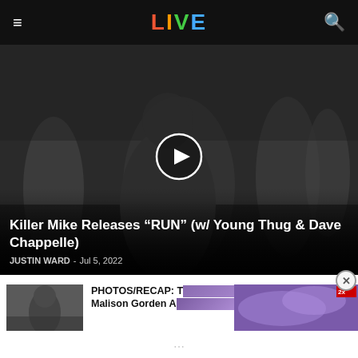LIVE
[Figure (photo): Black and white photo of Killer Mike with other people in background, with play button overlay]
Killer Mike Releases “RUN” (w/ Young Thug & Dave Chappelle)
JUSTIN WARD - Jul 5, 2022
[Figure (photo): Small thumbnail photo of a performer on stage]
PHOTOS/RECAP: T... Madison Garden A...
[Figure (photo): Purple advertisement banner overlay]